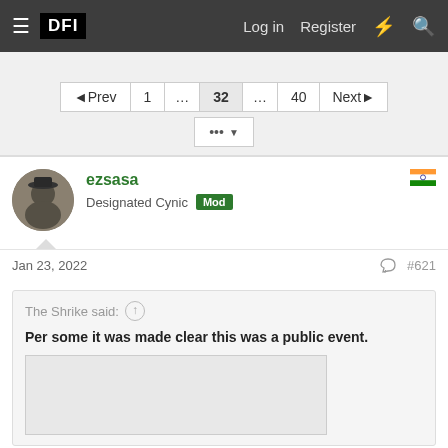DFI — Log in  Register
◄Prev  1  …  32  …  40  Next►
ezsasa
Designated Cynic  Mod
Jan 23, 2022  #621
The Shrike said:
Per some it was made clear this was a public event.